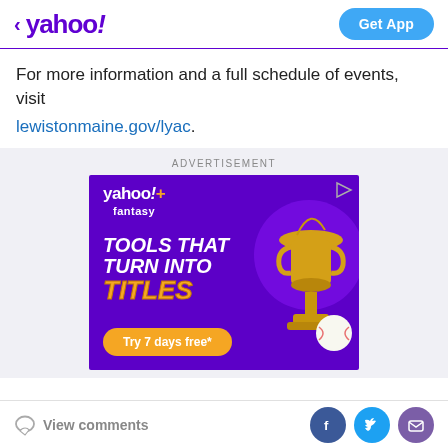< yahoo! Get App
For more information and a full schedule of events, visit lewistonmaine.gov/lyac.
[Figure (screenshot): Yahoo! Fantasy Sports advertisement banner with purple background. Shows 'yahoo!+ fantasy' logo, text 'TOOLS THAT TURN INTO TITLES' with a gold trophy and baseball graphic, and a 'Try 7 days free*' button.]
View comments